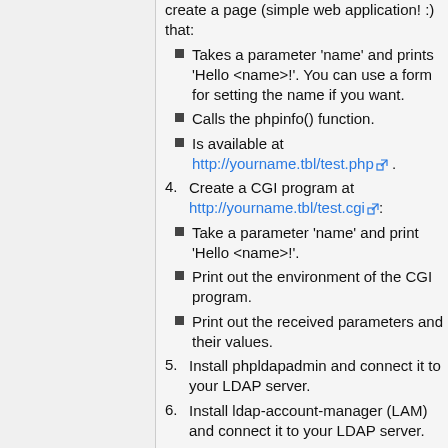create a page (simple web application! :) that:
Takes a parameter 'name' and prints 'Hello <name>!'. You can use a form for setting the name if you want.
Calls the phpinfo() function.
Is available at http://yourname.tbl/test.php .
4. Create a CGI program at http://yourname.tbl/test.cgi:
Take a parameter 'name' and print 'Hello <name>!'.
Print out the environment of the CGI program.
Print out the received parameters and their values.
5. Install phpldapadmin and connect it to your LDAP server.
6. Install ldap-account-manager (LAM) and connect it to your LDAP server.
7. Configure per-user web-accessible directories with mod_userdir.
8. Set up HTTPS for the website: